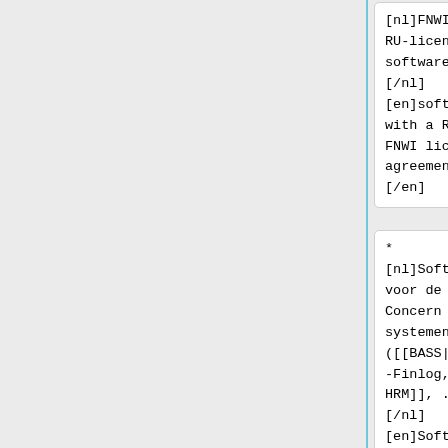[nl]FNWI- of RU-licentie-software.[/nl][en]software with a RU or FNWI license agreement.[/en]
[nl]FNWI- of RU-licentie-software.[/nl][en]software with a RU or FNWI license agreement.[/en]
* [nl]Software voor de RU Concern systemen ([[BASS|BASS-Finlog, HRM]], ...).[/nl][en]Software for the RU Concern
* [nl]Software voor de RU Concern systemen ([[BASS|BASS-Finlog, HRM]], ...).[/nl][en]Software for the RU Concern